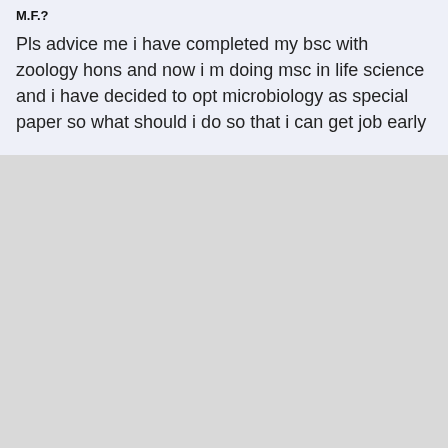M.F.?
Pls advice me i have completed my bsc with zoology hons and now i m doing msc in life science and i have decided to opt microbiology as special paper so what should i do so that i can get job early